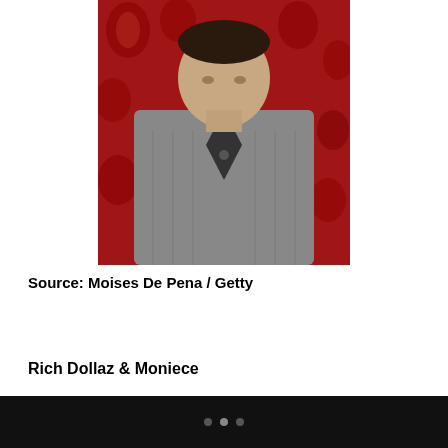[Figure (photo): A man wearing a grey zip-up cardigan sweater standing in front of a red patterned background]
Source: Moises De Pena / Getty
Rich Dollaz & Moniece
Rich and his latest PYT Moniece Slaughter, aka Lil Fizz's baby mama from Love & Hip Hop: Hollywood, arrived arm-in-arm for